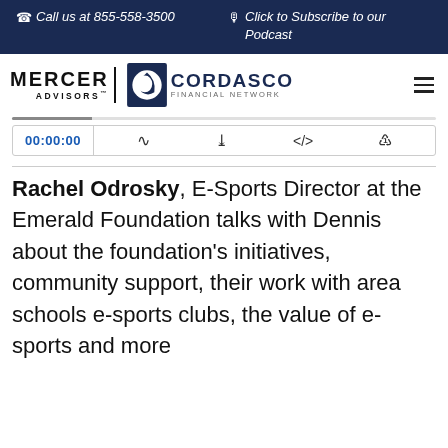Call us at 855-558-3500 | Click to Subscribe to our Podcast
[Figure (logo): Mercer Advisors and Cordasco Financial Network logos with hamburger menu]
[Figure (screenshot): Audio podcast player with timestamp 00:00:00, RSS, download, embed, and share icons]
Rachel Odrosky, E-Sports Director at the Emerald Foundation talks with Dennis about the foundation's initiatives, community support, their work with area schools e-sports clubs, the value of e-sports and more